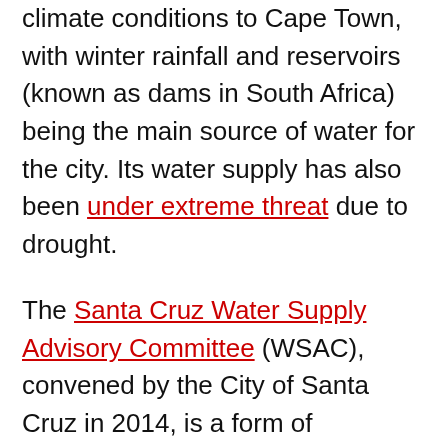climate conditions to Cape Town, with winter rainfall and reservoirs (known as dams in South Africa) being the main source of water for the city. Its water supply has also been under extreme threat due to drought.
The Santa Cruz Water Supply Advisory Committee (WSAC), convened by the City of Santa Cruz in 2014, is a form of governance that goes further than Cape Town, handing over planning for the city's water supply to a group of citizens.
The city nominated 14 people, largely from outside government. They were